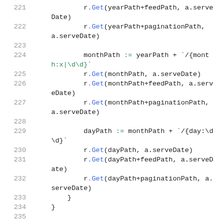[Figure (screenshot): Source code listing showing Go HTTP route registration code, lines 221-235. Lines show r.Get() calls for yearPath, monthPath, and dayPath routes with feedPath and paginationPath variants, plus variable assignments using := operator.]